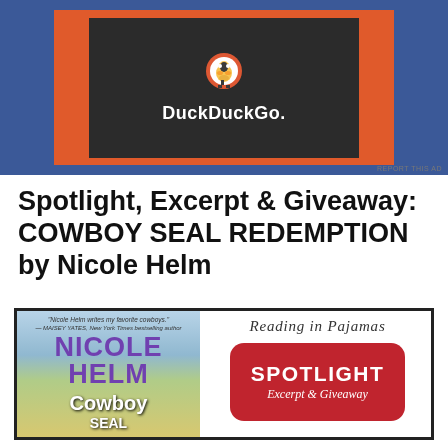[Figure (screenshot): DuckDuckGo advertisement banner with orange background and dark box showing DuckDuckGo logo and name]
Spotlight, Excerpt & Giveaway: COWBOY SEAL REDEMPTION by Nicole Helm
[Figure (illustration): Promotional image showing book cover of Cowboy SEAL Redemption by Nicole Helm on the left, and Reading in Pajamas blog logo with a red Spotlight Excerpt & Giveaway badge on the right]